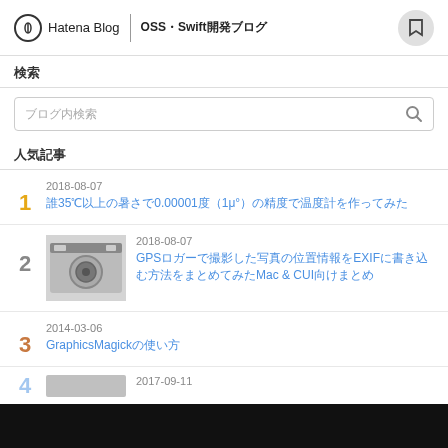Hatena Blog | OSS・Swift開発ブログ
検索
ブログ内検索
人気記事
1. 2018-08-07 誰35℃以上の暑さで0.00001度（1μ°）の精度で温度計を作ってみた
2. 2018-08-07 GPSロガーで撮影した写真の位置情報をEXIFに書き込む方法をまとめてみたMac & CUI向けまとめ
3. 2014-03-06 GraphicsMagickの使い方
4. 2017-09-11 ...